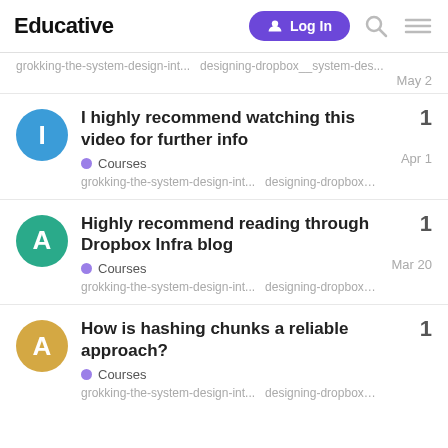Educative  Log In
grokking-the-system-design-int...   designing-dropbox__system-des...
May 2
I highly recommend watching this video for further info
Courses
grokking-the-system-design-int...   designing-dropbox__system-des...
Apr 1
Highly recommend reading through Dropbox Infra blog
Courses
grokking-the-system-design-int...   designing-dropbox__system-des...
Mar 20
How is hashing chunks a reliable approach?
Courses
grokking-the-system-design-int...   designing-dropbox__system-des...